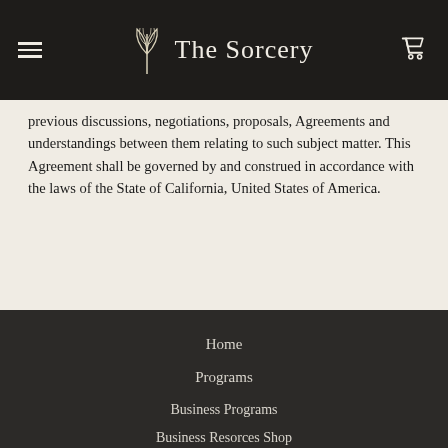The Sorcery
previous discussions, negotiations, proposals, Agreements and understandings between them relating to such subject matter. This Agreement shall be governed by and construed in accordance with the laws of the State of California, United States of America.
Home
Programs
Business Programs
Business Resorces Shop
GramCash
Business Sorcery School